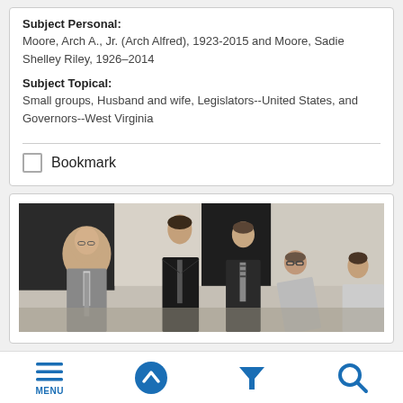Subject Personal: Moore, Arch A., Jr. (Arch Alfred), 1923-2015 and Moore, Sadie Shelley Riley, 1926–2014
Subject Topical: Small groups, Husband and wife, Legislators--United States, and Governors--West Virginia
Bookmark
[Figure (photo): Black and white photograph of a group of four or five men in suits, appearing to be at a formal or semi-formal gathering, gathered closely and looking downward at something]
MENU (navigation icons: menu, up arrow, filter, search)